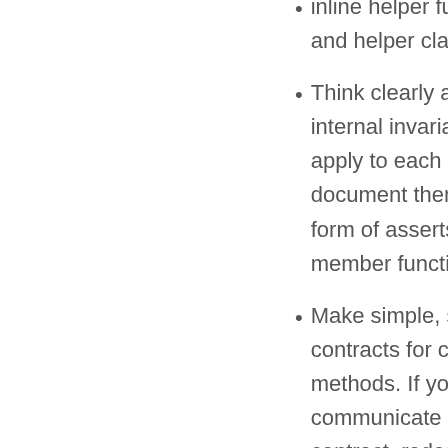inline helper functions and helper classes.
Think clearly about internal invariants that apply to each class, and document them in the form of asserts within member functions.
Make simple, self-evident contracts for class methods. If you cannot communicate a simple contract, redesign the class. Implement classes as if expecting rough usage by clients. Rough use that breaks a class must throw an